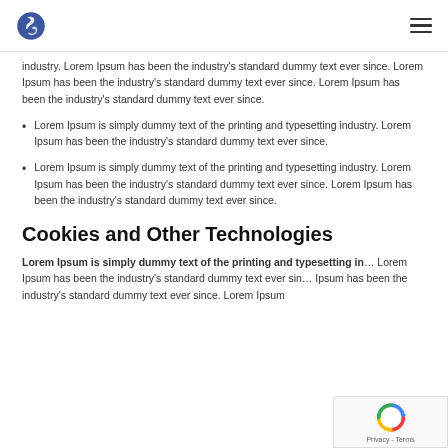[Logo] [Hamburger menu]
industry. Lorem Ipsum has been the industry's standard dummy text ever since. Lorem Ipsum has been the industry's standard dummy text ever since. Lorem Ipsum has been the industry's standard dummy text ever since.
Lorem Ipsum is simply dummy text of the printing and typesetting industry. Lorem Ipsum has been the industry's standard dummy text ever since.
Lorem Ipsum is simply dummy text of the printing and typesetting industry. Lorem Ipsum has been the industry's standard dummy text ever since. Lorem Ipsum has been the industry's standard dummy text ever since.
Cookies and Other Technologies
Lorem Ipsum is simply dummy text of the printing and typesetting in… Lorem Ipsum has been the industry's standard dummy text ever sin… Ipsum has been the industry's standard dummy text ever since. Lorem Ipsum